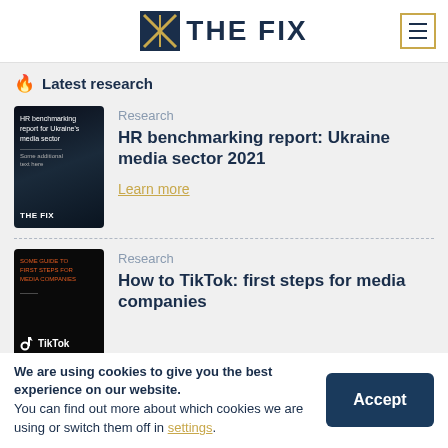THE FIX
Latest research
[Figure (photo): HR benchmarking report book cover with dark blue background]
Research
HR benchmarking report: Ukraine media sector 2021
Learn more
[Figure (photo): TikTok guide cover with dark background and TikTok logo]
Research
How to TikTok: first steps for media companies
We are using cookies to give you the best experience on our website.
You can find out more about which cookies we are using or switch them off in settings.